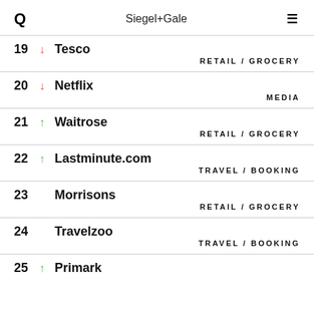Siegel+Gale
19 ↓ Tesco — RETAIL / GROCERY
20 ↓ Netflix — MEDIA
21 ↑ Waitrose — RETAIL / GROCERY
22 ↑ Lastminute.com — TRAVEL / BOOKING
23  Morrisons — RETAIL / GROCERY
24  Travelzoo — TRAVEL / BOOKING
25 ↑ Primark